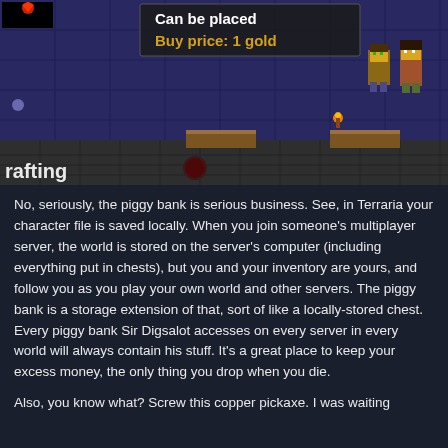[Figure (screenshot): Terraria game screenshot showing dungeon/cave area with blue brick walls, stone platforms, wooden beams, a torch, and two player characters. Overlaid text reads 'Can be placed' in white and 'Buy price: 1 gold' in yellow. Bottom left shows 'rafting' text (partial word 'Crafting').]
No, seriously, the piggy bank is serious business. See, in Terraria your character file is saved locally. When you join someone's multiplayer server, the world is stored on the server's computer (including everything put in chests), but you and your inventory are yours, and follow you as you play your own world and other servers. The piggy bank is a storage extension of that, sort of like a locally-stored chest. Every piggy bank Sir Digsalot accesses on every server in every world will always contain his stuff. It's a great place to keep your excess money, the only thing you drop when you die.
Also, you know what? Screw this copper pickaxe. I was waiting